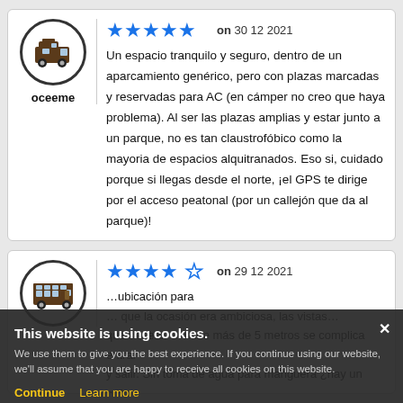[Figure (illustration): User avatar showing a camper van icon in a circle]
oceeme
[Figure (other): 5 filled blue stars rating]
on 30 12 2021
Un espacio tranquilo y seguro, dentro de un aparcamiento genérico, pero con plazas marcadas y reservadas para AC (en cámper no creo que haya problema). Al ser las plazas amplias y estar junto a un parque, no es tan claustrofóbico como la mayoria de espacios alquitranados. Eso si, cuidado porque si llegas desde el norte, ¡el GPS te dirige por el acceso peatonal (por un callejón que da al parque)!
[Figure (illustration): User avatar showing a motorhome/bus icon in a circle]
[Figure (other): 4 filled blue stars and 1 empty star rating]
on 29 12 2021
Partial second review text visible behind cookie overlay
This website is using cookies. We use them to give you the best experience. If you continue using our website, we'll assume that you are happy to receive all cookies on this website.